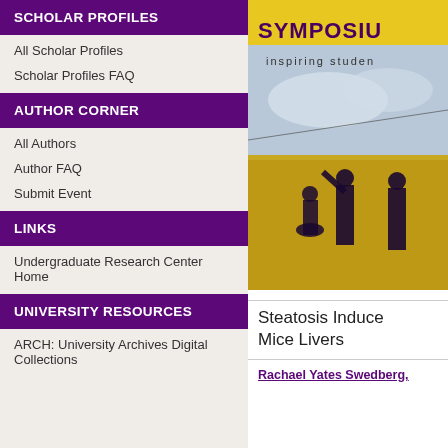SCHOLAR PROFILES
All Scholar Profiles
Scholar Profiles FAQ
AUTHOR CORNER
All Authors
Author FAQ
Submit Event
LINKS
Undergraduate Research Center Home
UNIVERSITY RESOURCES
ARCH: University Archives Digital Collections
[Figure (illustration): Symposium cover image showing silhouettes of students in a yellow field with text 'SYMPOSIU' and 'inspiring studen']
Steatosis Induce Mice Livers
Rachael Yates Swedberg,